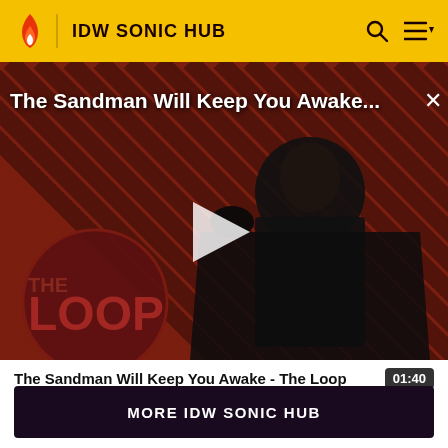IDW SONIC HUB
[Figure (screenshot): Video thumbnail showing a dark-cloaked figure against a red diagonal striped background with THE LOOP logo, title overlay 'The Sandman Will Keep You Awake...' and a play button]
The Sandman Will Keep You Awake - The Loop
01:40
otherwise noted.
MORE IDW SONIC HUB